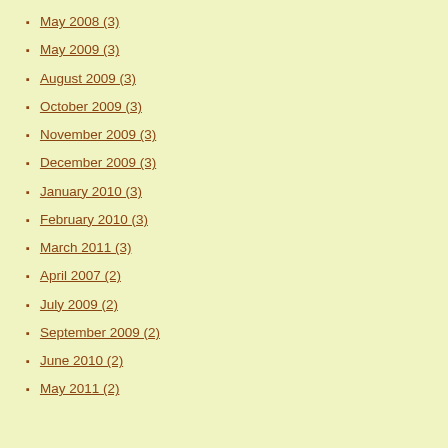May 2008 (3)
May 2009 (3)
August 2009 (3)
October 2009 (3)
November 2009 (3)
December 2009 (3)
January 2010 (3)
February 2010 (3)
March 2011 (3)
April 2007 (2)
July 2009 (2)
September 2009 (2)
June 2010 (2)
May 2011 (2)